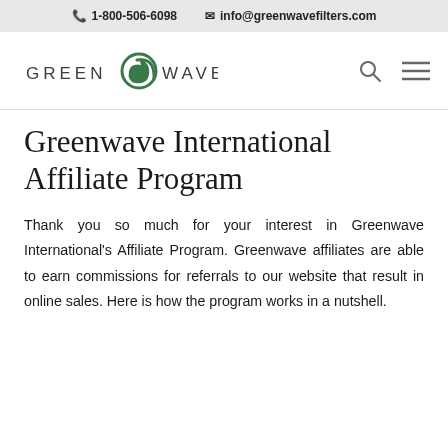1-800-506-6098   info@greenwavefilters.com
[Figure (logo): Greenwave logo with stylized G wave icon and text GREEN WAVE]
Greenwave International Affiliate Program
Thank you so much for your interest in Greenwave International's Affiliate Program. Greenwave affiliates are able to earn commissions for referrals to our website that result in online sales. Here is how the program works in a nutshell.